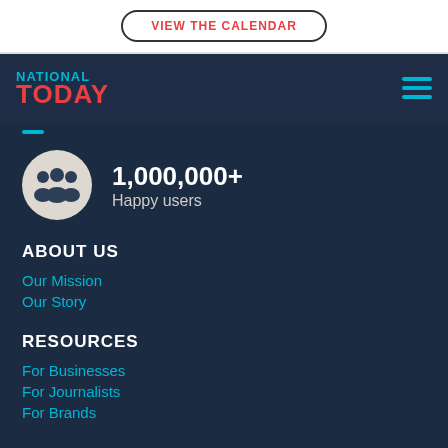VIEW THE CALENDAR
[Figure (logo): National Today logo with NATIONAL in cyan and TODAY in red]
1,000,000+
Happy users
ABOUT US
Our Mission
Our Story
RESOURCES
For Businesses
For Journalists
For Brands